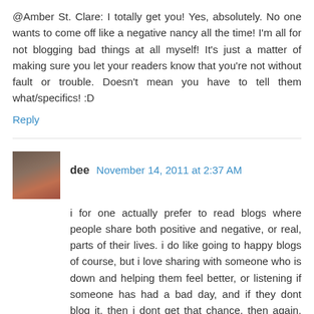@Amber St. Clare: I totally get you! Yes, absolutely. No one wants to come off like a negative nancy all the time! I'm all for not blogging bad things at all myself! It's just a matter of making sure you let your readers know that you're not without fault or trouble. Doesn't mean you have to tell them what/specifics! :D
Reply
dee  November 14, 2011 at 2:37 AM
i for one actually prefer to read blogs where people share both positive and negative, or real, parts of their lives. i do like going to happy blogs of course, but i love sharing with someone who is down and helping them feel better, or listening if someone has had a bad day, and if they dont blog it, then i dont get that chance. then again, lots of my close blog friends will email me instead and chat about that stuff.
i definitely dont agree with airing your 'fights' with the other half on the blog, thats just rude. i think if you cant deal with